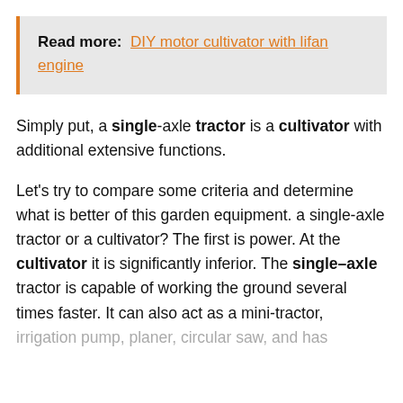Read more:  DIY motor cultivator with lifan engine
Simply put, a single-axle tractor is a cultivator with additional extensive functions.
Let's try to compare some criteria and determine what is better of this garden equipment. a single-axle tractor or a cultivator? The first is power. At the cultivator it is significantly inferior. The single–axle tractor is capable of working the ground several times faster. It can also act as a mini-tractor, irrigation pump, planer, circular saw, and has